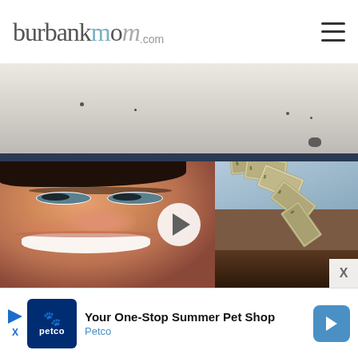burbankmom.com
[Figure (photo): Top partial image strip showing a light gray/beige background with some dust specks, bottom edge has a dark navy border stripe]
[Figure (photo): Close-up of a smiling woman holding a fan of US dollar bills in front of her face, with a video play button overlay in the center. There is an X close button in the bottom right corner.]
[Figure (other): Advertisement banner for Petco: 'Your One-Stop Summer Pet Shop' with Petco logo and a blue arrow button. Includes small play and X icons on the left.]